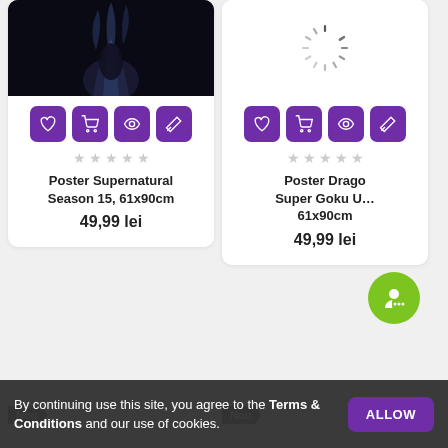[Figure (photo): Dark product photo showing smoky supernatural imagery, top-left card]
[Figure (other): Loading spinner circle, top-right card]
♡  🛒  👁  ⇄
★ ★ ★ ★ ★
Poster Supernatural Season 15, 61x90cm
49,99 lei
♡  🛒  👁  ⇄
★ ★ ★ ★ ★
Poster Drago Super Goku U 61x90cm
49,99 lei
Nou
Nou
By continuing use this site, you agree to the Terms & Conditions and our use of cookies.
ALLOW